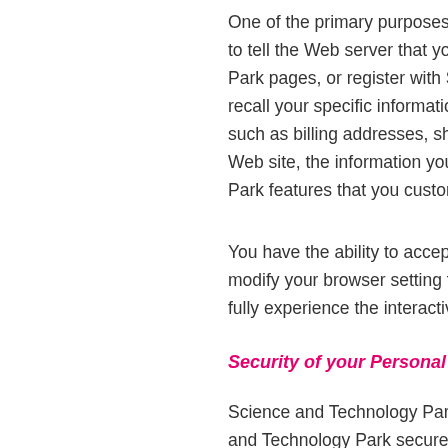One of the primary purposes of cookies is to tell the Web server that you have returned to Park pages, or register with Science and Park, recall your specific information on subsequent visit such as billing addresses, shipping addresses, Web site, the information you previously provided, Park features that you customized.
You have the ability to accept or decline cookies, modify your browser setting to decline, you may not fully experience the interactive features.
Security of your Personal Information
Science and Technology Park secures your and Technology Park secures the personal information secure environment, protected from unauthorized access. When sensitive information (such as a credit card number) is transmitted to...